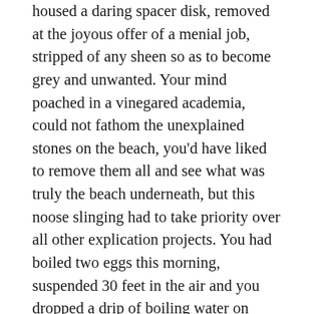housed a daring spacer disk, removed at the joyous offer of a menial job, stripped of any sheen so as to become grey and unwanted. Your mind poached in a vinegared academia, could not fathom the unexplained stones on the beach, you'd have liked to remove them all and see what was truly the beach underneath, but this noose slinging had to take priority over all other explication projects. You had boiled two eggs this morning, suspended 30 feet in the air and you dropped a drip of boiling water on some foliage below which had scalded a patterned, proto-language into a large leaf. The Milton steriliser tablet which you had used to un-gravy the slick water to boil eggs, gave you a very